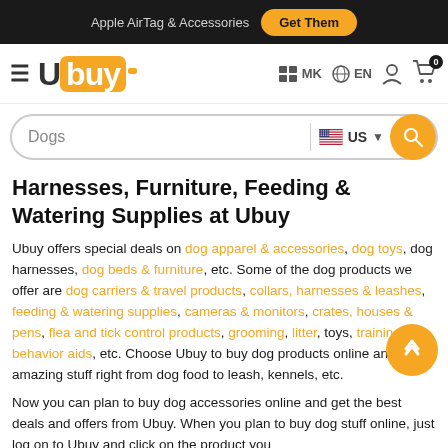Apple AirTag & Accessories  Get Them
[Figure (logo): Ubuy logo with orange square background, hamburger menu icon, MK flag, EN language selector, user icon, cart icon with 0 badge]
[Figure (screenshot): Search bar with 'Dogs' text, US flag dropdown, and orange search button]
Harnesses, Furniture, Feeding & Watering Supplies at Ubuy
Ubuy offers special deals on dog apparel & accessories, dog toys, dog harnesses, dog beds & furniture, etc. Some of the dog products we offer are dog carriers & travel products, collars, harnesses & leashes, feeding & watering supplies, cameras & monitors, crates, houses & pens, flea and tick control products, grooming, litter, toys, training and behavior aids, etc. Choose Ubuy to buy dog products online and get amazing stuff right from dog food to leash, kennels, etc.
Now you can plan to buy dog accessories online and get the best deals and offers from Ubuy. When you plan to buy dog stuff online, just log on to Ubuy and click on the product you